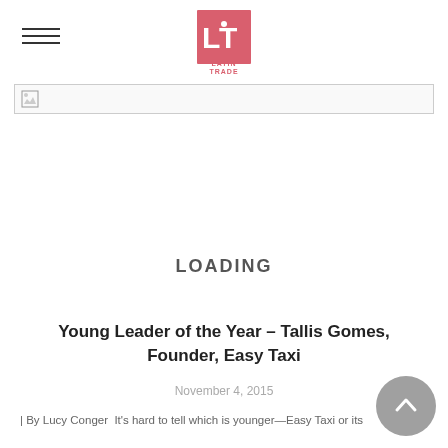[Figure (logo): Latin Trade magazine logo — red/pink square with white 'LT' letters and 'LATIN TRADE' text below]
[Figure (photo): Broken/loading image placeholder — small broken image icon with border]
LOADING
Young Leader of the Year – Tallis Gomes, Founder, Easy Taxi
November 4, 2015
| By Lucy Conger  It's hard to tell which is younger—Easy Taxi or its